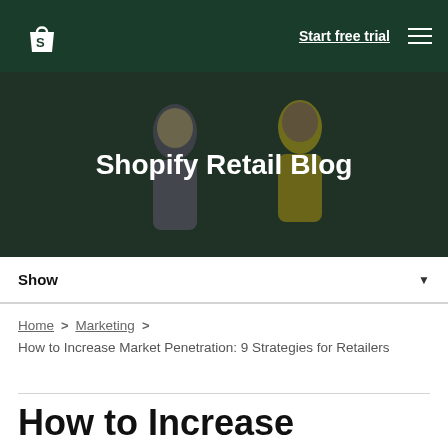Shopify logo | Start free trial | Menu
[Figure (photo): Hero banner with two people interacting, dark green overlay, text 'Shopify Retail Blog']
Shopify Retail Blog
Show ▼
Home > Marketing > How to Increase Market Penetration: 9 Strategies for Retailers
How to Increase